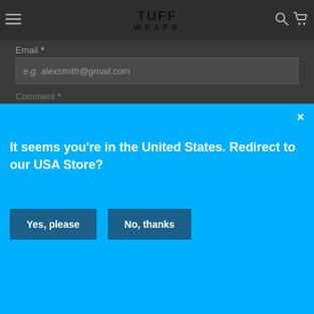TUFF WRAPS — navigation bar with hamburger menu, logo, search and cart icons
e.g. Alex Smith
Email *
e.g. alexsmith@gmail.com
[Figure (screenshot): Modal popup overlay on a blue background asking 'It seems you're in the United States. Redirect to our USA Store?' with 'Yes, please' and 'No, thanks' buttons and an X close button]
It seems you're in the United States. Redirect to our USA Store?
Yes, please
No, thanks
shopping experience. By using this site, you agree to its use of cookies.
Related Blog Posts
I agree
TUFF Rewards